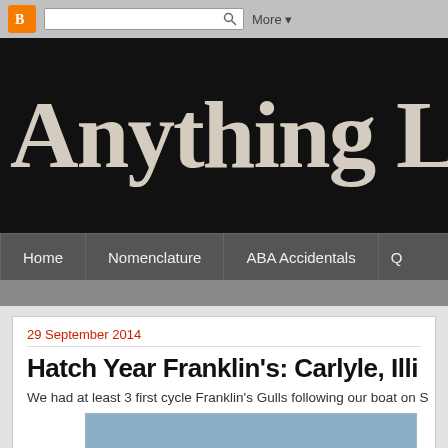Blogger nav bar with search and More button
Anything La
Home | Nomenclature | ABA Accidentals | Q
29 September 2014
Hatch Year Franklin's: Carlyle, Illi
We had at least 3 first cycle Franklin's Gulls following our boat on S
[Figure (photo): Partial photo of sky/water scene, blue-grey tones, cropped]